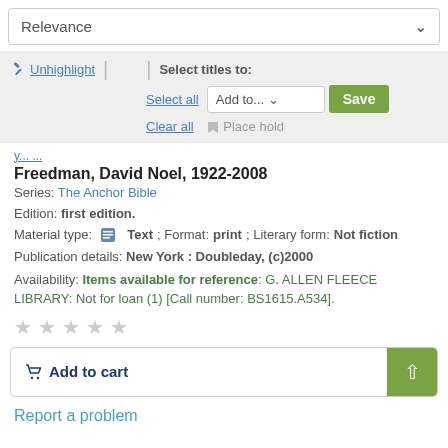Relevance
Unhighlight | Select titles to: Select all Add to... Save Clear all Place hold
Freedman, David Noel, 1922-2008
Series: The Anchor Bible
Edition: first edition.
Material type: Text; Format: print ; Literary form: Not fiction
Publication details: New York : Doubleday, (c)2000
Availability: Items available for reference: G. ALLEN FLEECE LIBRARY: Not for loan (1) [Call number: BS1615.A534].
Add to cart
Report a problem